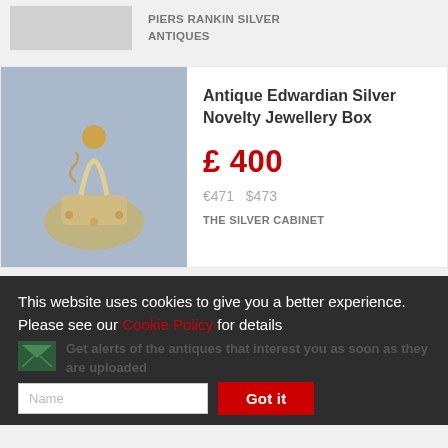PIERS RANKIN SILVER ANTIQUES
Antique Edwardian Silver Novelty Jewellery Box
£ 400
€471   $473
THE SILVER CABINET
This website uses cookies to give you a better experience. Please see our Cookie Policy for details
Get alerts of the antiques that interest you as soon as they are uploaded
Name